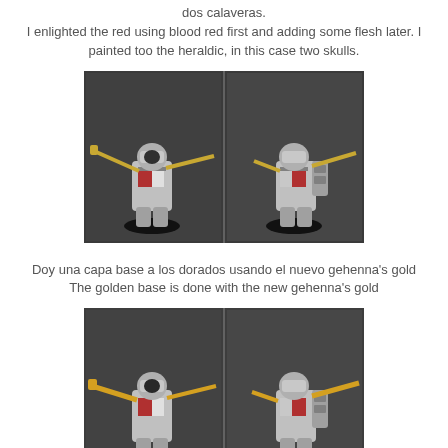dos calaveras.
I enlighted the red using blood red first and adding some flesh later. I painted too the heraldic, in this case two skulls.
[Figure (photo): Two views (front and back) of a painted miniature Space Marine figure in silver armor with red and white heraldic markings, holding a staff/weapon, mounted on a black base.]
Doy una capa base a los dorados usando el nuevo gehenna's gold
The golden base is done with the new gehenna's gold
[Figure (photo): Two views (front and back) of the same painted miniature Space Marine figure, now with golden colored weapon/staff detail added, mounted on a black base.]